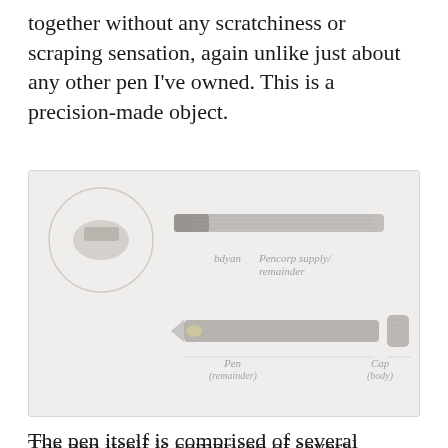together without any scratchiness or scraping sensation, again unlike just about any other pen I've owned. This is a precision-made object.
[Figure (illustration): Faded/washed-out photograph of a pen disassembled into components, with handwritten-style labels. Top row shows the pen assembled with a label 'Pencorp supply/ remainder'. Bottom row shows the pen body and cap separately with labels 'Pen (remainder)' and 'Cap (body)'.]
The pen itself is comprised of several unscrewable components. You can use the pen in two ways: